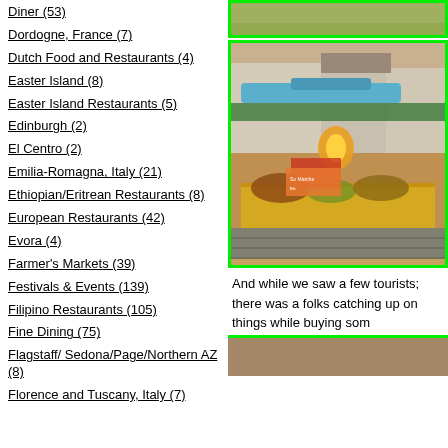Diner (53)
Dordogne, France (7)
Dutch Food and Restaurants (4)
Easter Island (8)
Easter Island Restaurants (5)
Edinburgh (2)
El Centro (2)
Emilia-Romagna, Italy (21)
Ethiopian/Eritrean Restaurants (8)
European Restaurants (42)
Evora (4)
Farmer's Markets (39)
Festivals & Events (139)
Filipino Restaurants (105)
Fine Dining (75)
Flagstaff/ Sedona/Page/Northern AZ (8)
Florence and Tuscany, Italy (7)
[Figure (photo): Top partial photo of a market or outdoor scene with green border]
[Figure (photo): Outdoor farmer's market scene with colorful stalls, blue awning, yellow tablecloth with spices and produce, European town buildings in background. Green border.]
And while we saw a few tourists; there was a folks catching up on things while buying som
[Figure (photo): Partial bottom photo with green border top edge visible]